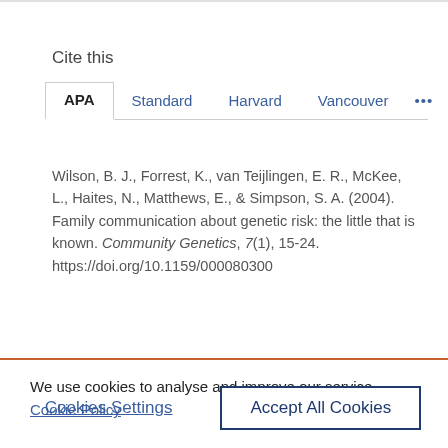Cite this
APA | Standard | Harvard | Vancouver | ...
Wilson, B. J., Forrest, K., van Teijlingen, E. R., McKee, L., Haites, N., Matthews, E., & Simpson, S. A. (2004). Family communication about genetic risk: the little that is known. Community Genetics, 7(1), 15-24. https://doi.org/10.1159/000080300
We use cookies to analyse and improve our service. Cookie Policy
Cookies Settings
Accept All Cookies